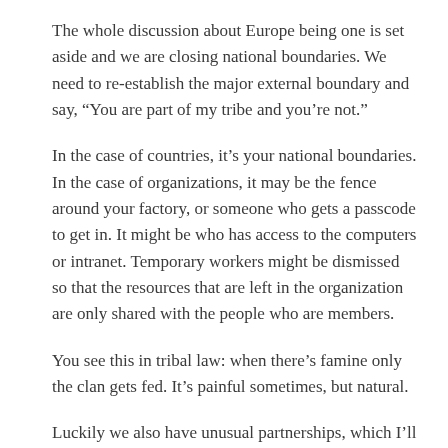The whole discussion about Europe being one is set aside and we are closing national boundaries. We need to re-establish the major external boundary and say, “You are part of my tribe and you’re not.”
In the case of countries, it’s your national boundaries. In the case of organizations, it may be the fence around your factory, or someone who gets a passcode to get in. It might be who has access to the computers or intranet. Temporary workers might be dismissed so that the resources that are left in the organization are only shared with the people who are members.
You see this in tribal law: when there’s famine only the clan gets fed. It’s painful sometimes, but natural.
Luckily we also have unusual partnerships, which I’ll talk about later! So first you re-establish the major internal